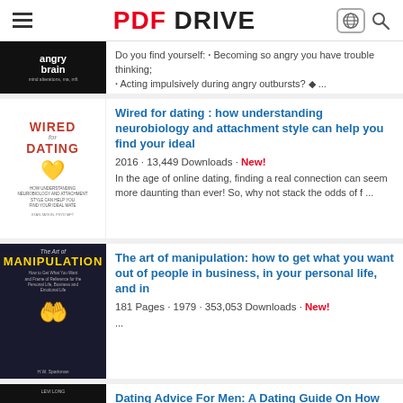PDF DRIVE
Do you find yourself: • Becoming so angry you have trouble thinking; • Acting impulsively during angry outbursts? ◆ ...
Wired for dating : how understanding neurobiology and attachment style can help you find your ideal
2016 · 13,449 Downloads · New!
In the age of online dating, finding a real connection can seem more daunting than ever! So, why not stack the odds of f ...
The art of manipulation: how to get what you want out of people in business, in your personal life, and in
181 Pages · 1979 · 353,053 Downloads · New!
...
Dating Advice For Men: A Dating Guide On How To Be A Better Man, Attract The Women You Want, Have A
89 Pages · 2019 · 125,123 Downloads · New!
Use These Powerful Dating Secrets To Become A Better Man, Attract The Women You Want And Get The most From Life! Limited ...